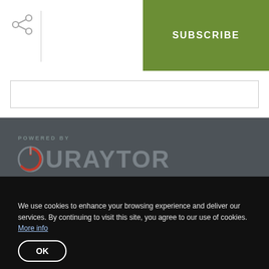[Figure (other): Share icon (network/share symbol) in gray]
[Figure (other): Green SUBSCRIBE button]
[Figure (other): Empty input/text field with border]
POWERED BY
[Figure (logo): Curaytor logo: red power-button C icon followed by URAYTOR in large gray text]
Search for Homes
Meet the Team
We use cookies to enhance your browsing experience and deliver our services. By continuing to visit this site, you agree to our use of cookies. More info
[Figure (other): OK button with rounded border on dark background]